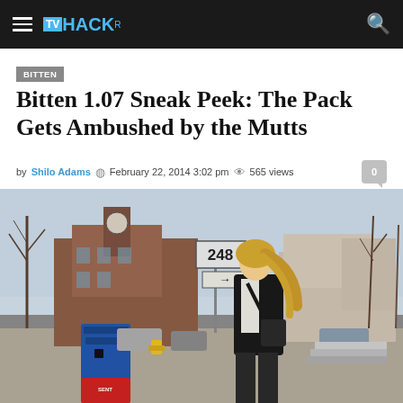TVHACKr
BITTEN
Bitten 1.07 Sneak Peek: The Pack Gets Ambushed by the Mutts
by Shilo Adams  February 22, 2014 3:02 pm  565 views  0
[Figure (photo): Blonde woman in black jacket walking on a small-town street with a road sign showing 248, brick buildings in background, blue newspaper box in foreground, early spring setting.]